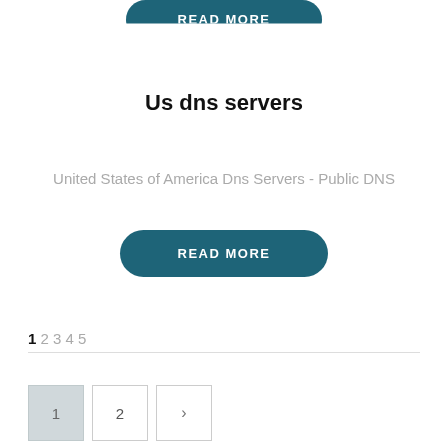[Figure (other): Partial view of a teal rounded READ MORE button cropped at top of page]
Us dns servers
United States of America Dns Servers - Public DNS
[Figure (other): Teal rounded READ MORE button]
1 2 3 4 5
1  2  >